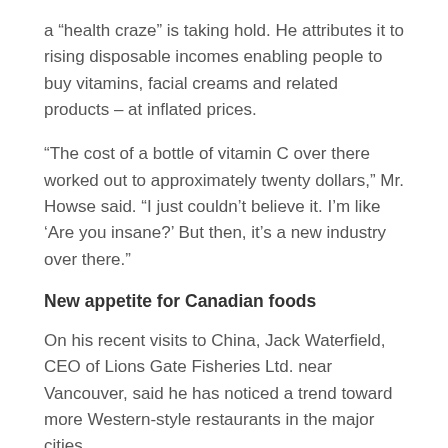a “health craze” is taking hold. He attributes it to rising disposable incomes enabling people to buy vitamins, facial creams and related products – at inflated prices.
“The cost of a bottle of vitamin C over there worked out to approximately twenty dollars,” Mr. Howse said. “I just couldn’t believe it. I’m like ‘Are you insane?’ But then, it’s a new industry over there.”
New appetite for Canadian foods
On his recent visits to China, Jack Waterfield, CEO of Lions Gate Fisheries Ltd. near Vancouver, said he has noticed a trend toward more Western-style restaurants in the major cities.
“If that continues, then we expect stronger demand for both seafood and other products from North America,” said Mr. Waterfield, who has been to China six times. “And of course, expendable income in